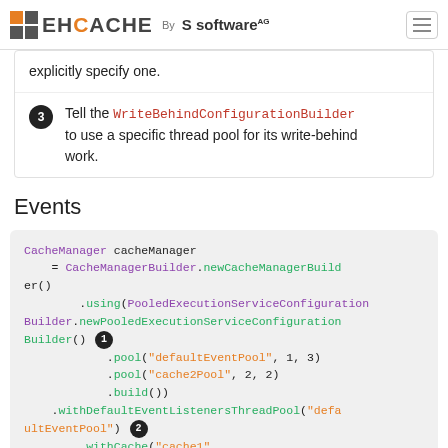EHCACHE By S software AG
explicitly specify one.
Tell the WriteBehindConfigurationBuilder to use a specific thread pool for its write-behind work.
Events
CacheManager cacheManager
    = CacheManagerBuilder.newCacheManagerBuilder()
    .using(PooledExecutionServiceConfigurationBuilder.newPooledExecutionServiceConfigurationBuilder() [1]
            .pool("defaultEventPool", 1, 3)
            .pool("cache2Pool", 2, 2)
            .build())
    .withDefaultEventListenersThreadPool("defaultEventPool") [2]
    .withCache("cache1",